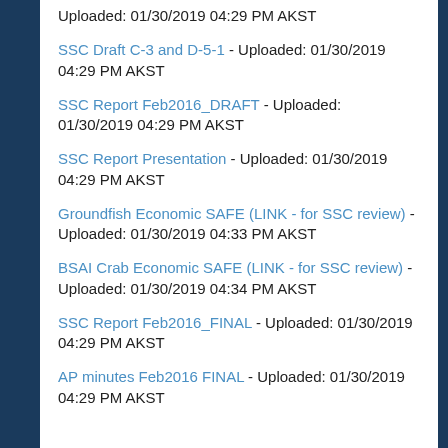Uploaded: 01/30/2019 04:29 PM AKST
SSC Draft C-3 and D-5-1 - Uploaded: 01/30/2019 04:29 PM AKST
SSC Report Feb2016_DRAFT - Uploaded: 01/30/2019 04:29 PM AKST
SSC Report Presentation - Uploaded: 01/30/2019 04:29 PM AKST
Groundfish Economic SAFE (LINK - for SSC review) - Uploaded: 01/30/2019 04:33 PM AKST
BSAI Crab Economic SAFE (LINK - for SSC review) -Uploaded: 01/30/2019 04:34 PM AKST
SSC Report Feb2016_FINAL - Uploaded: 01/30/2019 04:29 PM AKST
AP minutes Feb2016 FINAL - Uploaded: 01/30/2019 04:29 PM AKST